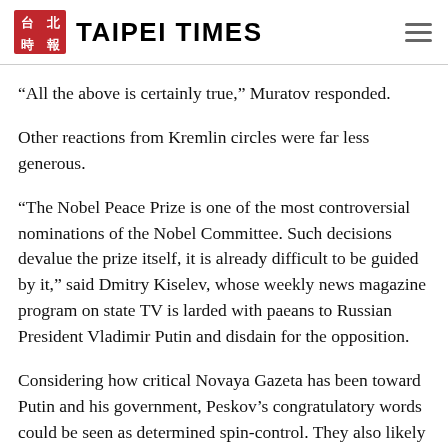TAIPEI TIMES
“All the above is certainly true,” Muratov responded.
Other reactions from Kremlin circles were far less generous.
“The Nobel Peace Prize is one of the most controversial nominations of the Nobel Committee. Such decisions devalue the prize itself, it is already difficult to be guided by it,” said Dmitry Kiselev, whose weekly news magazine program on state TV is larded with paeans to Russian President Vladimir Putin and disdain for the opposition.
Considering how critical Novaya Gazeta has been toward Putin and his government, Peskov’s congratulatory words could be seen as determined spin-control. They also likely reflect relief that the Norwegian Nobel Committee did not